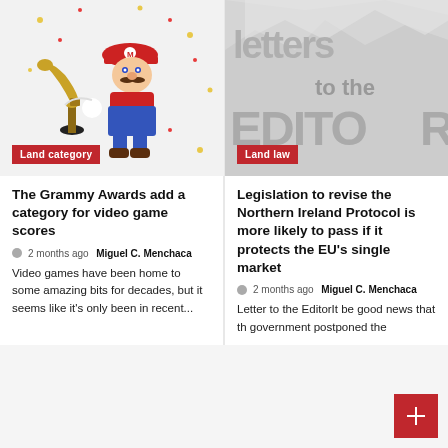[Figure (photo): Mario character holding a Grammy Award trophy with confetti, on a light background]
Land category
[Figure (photo): Letters to the Editor graphic with torn paper background in grey tones]
Land law
The Grammy Awards add a category for video game scores
🕐  2 months ago  Miguel C. Menchaca
Video games have been home to some amazing bits for decades, but it seems like it's only been in recent...
Legislation to revise the Northern Ireland Protocol is more likely to pass if it protects the EU's single market
🕐  2 months ago  Miguel C. Menchaca
Letter to the EditorIt be good news that th government postponed the